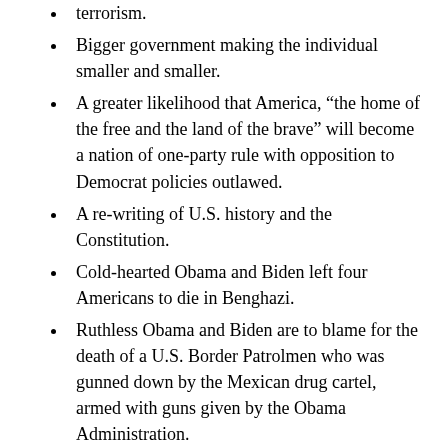terrorism.
Bigger government making the individual smaller and smaller.
A greater likelihood that America, “the home of the free and the land of the brave” will become a nation of one-party rule with opposition to Democrat policies outlawed.
A re-writing of U.S. history and the Constitution.
Cold-hearted Obama and Biden left four Americans to die in Benghazi.
Ruthless Obama and Biden are to blame for the death of a U.S. Border Patrolmen who was gunned down by the Mexican drug cartel, armed with guns given by the Obama Administration.
You will also be voting for a man whose health is failing, and who may have to relinquish his presidency